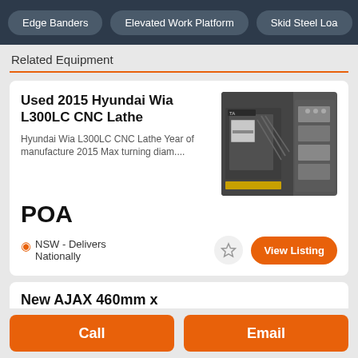Edge Banders | Elevated Work Platform | Skid Steel Loa...
Related Equipment
Used 2015 Hyundai Wia L300LC CNC Lathe
Hyundai Wia L300LC CNC Lathe Year of manufacture 2015 Max turning diam....
POA
NSW - Delivers Nationally
[Figure (photo): Photo of a Hyundai Wia L300LC CNC Lathe machine in a workshop setting]
View Listing
New AJAX 460mm x
Call
Email